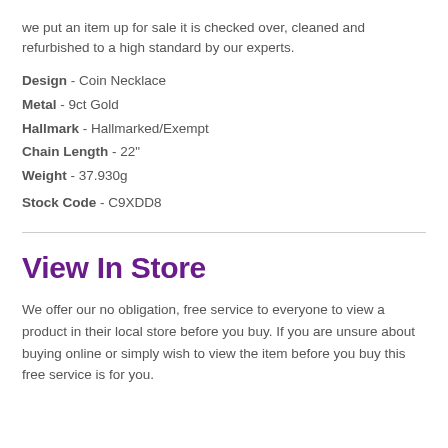we put an item up for sale it is checked over, cleaned and refurbished to a high standard by our experts.
Design - Coin Necklace
Metal - 9ct Gold
Hallmark - Hallmarked/Exempt
Chain Length - 22"
Weight - 37.930g
Stock Code - C9XDD8
View In Store
We offer our no obligation, free service to everyone to view a product in their local store before you buy. If you are unsure about buying online or simply wish to view the item before you buy this free service is for you.